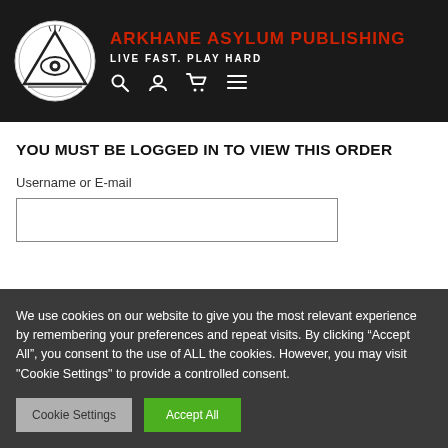[Figure (logo): Arkhane Asylum Publishing logo: circular emblem with all-seeing eye in triangle, black and white on dark header background]
ARKHANE ASYLUM PUBLISHING
LIVE FAST. PLAY HARD
YOU MUST BE LOGGED IN TO VIEW THIS ORDER
Username or E-mail
We use cookies on our website to give you the most relevant experience by remembering your preferences and repeat visits. By clicking “Accept All”, you consent to the use of ALL the cookies. However, you may visit "Cookie Settings" to provide a controlled consent.